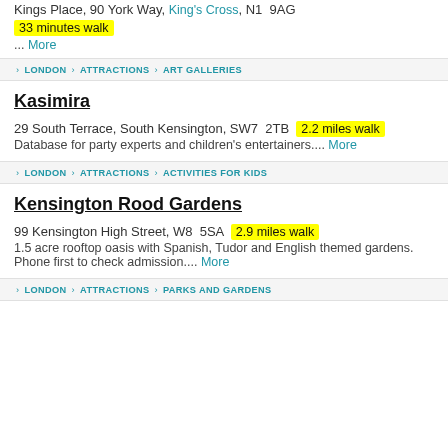Kings Place, 90 York Way, King's Cross, N1  9AG
33 minutes walk
... More
LONDON › ATTRACTIONS › ART GALLERIES
Kasimira
29 South Terrace, South Kensington, SW7  2TB  2.2 miles walk
Database for party experts and children's entertainers.... More
LONDON › ATTRACTIONS › ACTIVITIES FOR KIDS
Kensington Rood Gardens
99 Kensington High Street, W8  5SA  2.9 miles walk
1.5 acre rooftop oasis with Spanish, Tudor and English themed gardens. Phone first to check admission.... More
LONDON › ATTRACTIONS › PARKS AND GARDENS